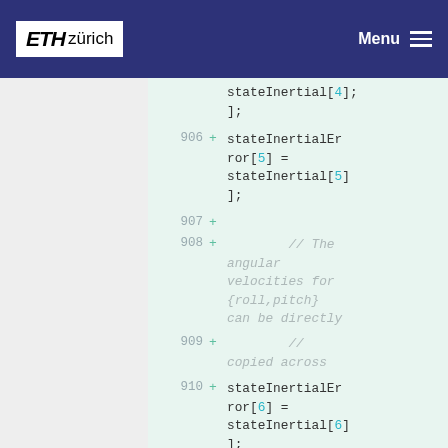ETH zürich — Menu
stateInertial[4];
906 + stateInertialError[5] = stateInertial[5];
907 +
908 + // The angular velocities for {roll,pitch} can be directly
909 + // copied across
910 + stateInertialError[6] = stateInertial[6];